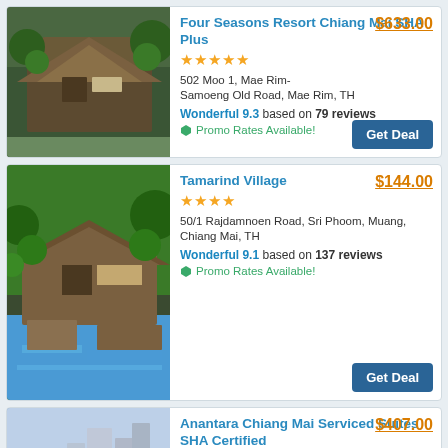[Figure (photo): Four Seasons Resort Chiang Mai exterior with tropical greenery and traditional Thai architecture]
Four Seasons Resort Chiang Mai SHA Plus ★★★★★ $633.00 502 Moo 1, Mae Rim-Samoeng Old Road, Mae Rim, TH Wonderful 9.3 based on 79 reviews Promo Rates Available! Get Deal
[Figure (photo): Tamarind Village hotel pool area surrounded by tropical trees and traditional Thai-style buildings]
Tamarind Village ★★★★ $144.00 50/1 Rajdamnoen Road, Sri Phoom, Muang, Chiang Mai, TH Wonderful 9.1 based on 137 reviews Promo Rates Available! Get Deal
[Figure (photo): Anantara Chiang Mai Serviced Suites rooftop view with city skyline and pool at dusk]
Anantara Chiang Mai Serviced Suites SHA Certified ★★★★★ $407.00 123-123/1 Charoen Prathet Road, Changklan, Muang, Chiang Mai, TH Excellent 8.5 based on 10 reviews Promo Rates Available!